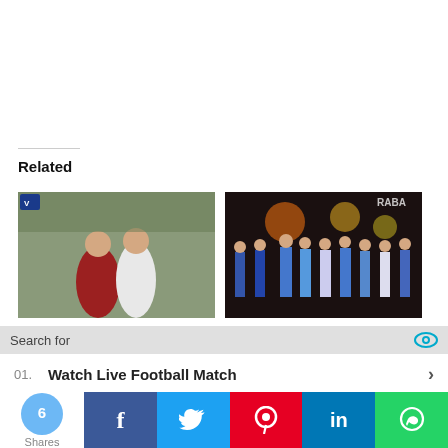Related
[Figure (photo): Two soccer players on a field with a crowd in the background; one in red/dark kit, one in white kit]
[Figure (photo): Group of people on a stage at an awards ceremony, some holding trophies, with a RABA watermark]
Search for
01. Watch Live Football Match
02. Stream Live Matches
Yahoo! Search | Sponsored
6 Shares